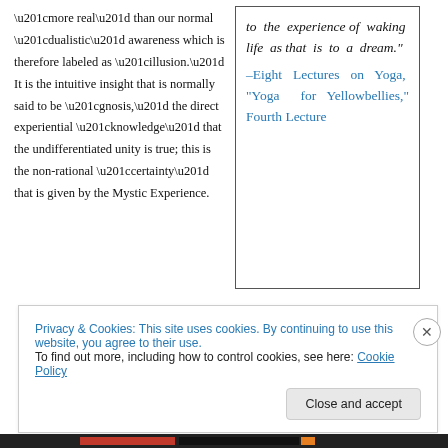“more real” than our normal “dualistic” awareness which is therefore labeled as “illusion.” It is the intuitive insight that is normally said to be “gnosis,” the direct experiential “knowledge” that the undifferentiated unity is true; this is the non-rational “certainty” that is given by the Mystic Experience.
to the experience of waking life as that is to a dream.” –Eight Lectures on Yoga, “Yoga for Yellowbellies,” Fourth Lecture
Privacy & Cookies: This site uses cookies. By continuing to use this website, you agree to their use. To find out more, including how to control cookies, see here: Cookie Policy